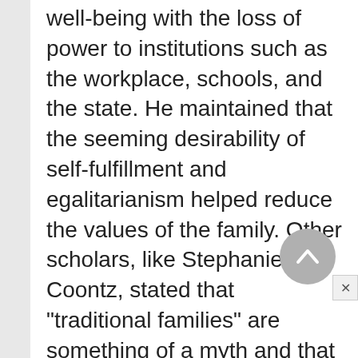well-being with the loss of power to institutions such as the workplace, schools, and the state. He maintained that the seeming desirability of self-fulfillment and egalitarianism helped reduce the values of the family. Other scholars, like Stephanie Coontz, stated that "traditional families" are something of a myth and that values depended on a supportive economic and social environment.
In May 1992 Vice President Dan Quayle gave a speech to the